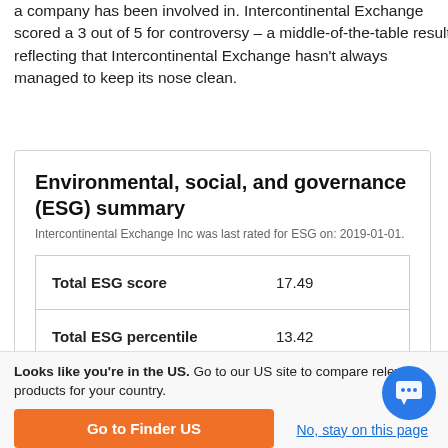a company has been involved in. Intercontinental Exchange scored a 3 out of 5 for controversy – a middle-of-the-table result reflecting that Intercontinental Exchange hasn't always managed to keep its nose clean.
Environmental, social, and governance (ESG) summary
Intercontinental Exchange Inc was last rated for ESG on: 2019-01-01.
|  |  |
| --- | --- |
| Total ESG score | 17.49 |
| Total ESG percentile | 13.42 |
| Environmental score | 7.12 |
Looks like you're in the US. Go to our US site to compare relevant products for your country.